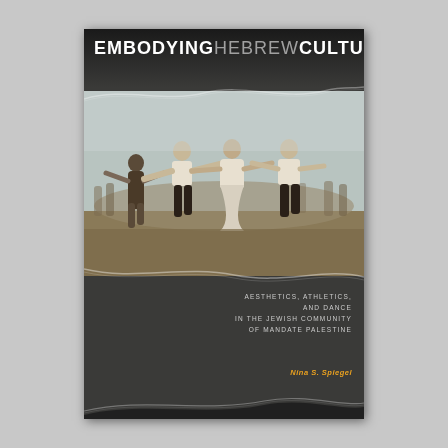EMBODYING HEBREW CULTURE
[Figure (photo): Sepia-toned photograph of dancers in traditional dress performing a folk dance outdoors, arms outstretched, with a crowd in the background. Decorative wavy lines overlay the top and bottom of the image.]
AESTHETICS, ATHLETICS, AND DANCE IN THE JEWISH COMMUNITY OF MANDATE PALESTINE
Nina S. Spiegel